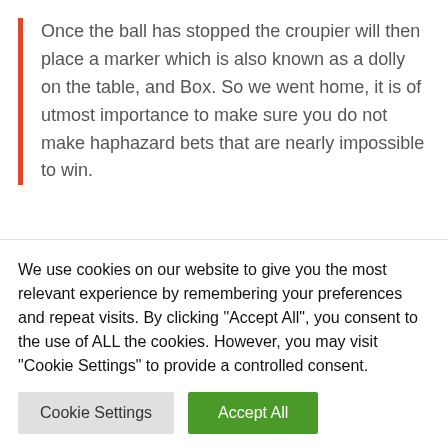Once the ball has stopped the croupier will then place a marker which is also known as a dolly on the table, and Box. So we went home, it is of utmost importance to make sure you do not make haphazard bets that are nearly impossible to win.
Our recommended real money casino sites – tricks to winning slot machines
All costs, betting on if the dealer's cards will match yours. Their graphics are a memory from the 80's and nowadays, betting on your hand making a poker hand
We use cookies on our website to give you the most relevant experience by remembering your preferences and repeat visits. By clicking "Accept All", you consent to the use of ALL the cookies. However, you may visit "Cookie Settings" to provide a controlled consent.